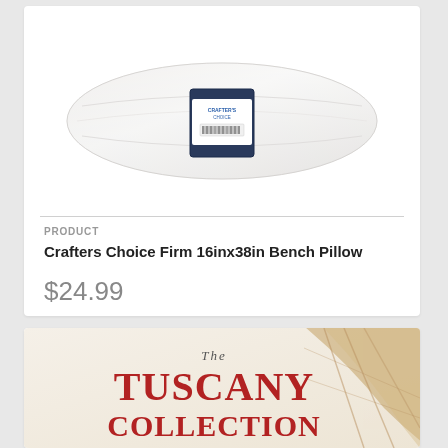[Figure (photo): Crafter's Choice Firm 16inx38in Bench Pillow in plastic packaging, shown against white background]
PRODUCT
Crafters Choice Firm 16inx38in Bench Pillow
$24.99
[Figure (photo): The Tuscany Collection product image showing text 'THE TUSCANY COLLECTION' in red on a light background with tan/beige decorative element]